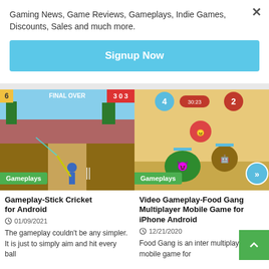Gaming News, Game Reviews, Gameplays, Indie Games, Discounts, Sales and much more.
Signup Now
[Figure (screenshot): Cricket game screenshot labeled 'FINAL OVER' with score 303, with Gameplays tag]
[Figure (screenshot): Food Gang Multiplayer game screenshot with cartoon characters, with Gameplays tag]
Gameplay-Stick Cricket for Android
01/09/2021
The gameplay couldn't be any simpler. It is just to simply aim and hit every ball
Video Gameplay-Food Gang Multiplayer Mobile Game for iPhone Android
12/21/2020
Food Gang is an inter multiplayer mobile game for